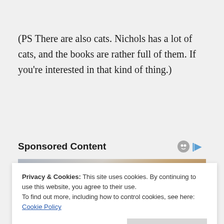(PS There are also cats. Nichols has a lot of cats, and the books are rather full of them. If you're interested in that kind of thing.)
Sponsored Content
[Figure (photo): Sponsored content image showing a person, partially visible, blurred background]
Privacy & Cookies: This site uses cookies. By continuing to use this website, you agree to their use.
To find out more, including how to control cookies, see here: Cookie Policy
Close and accept